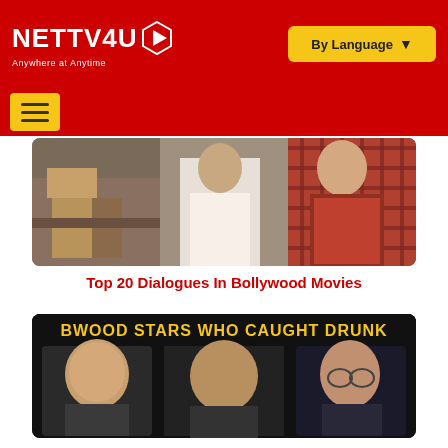NETTV4U — Anywhere at Anytime | By Language
[Figure (screenshot): NETTV4U website header with red background, logo on left and yellow 'By Language' dropdown button on right]
[Figure (photo): Collage of Bollywood movie scenes for 'Top 20 Dialogues In Bollywood Movies' article]
Top 20 Dialogues In Bollywood Movies
[Figure (photo): Thumbnail image with text 'BWOOD STARS WHO CAUGHT DRUNK' showing three Bollywood actors side by side]